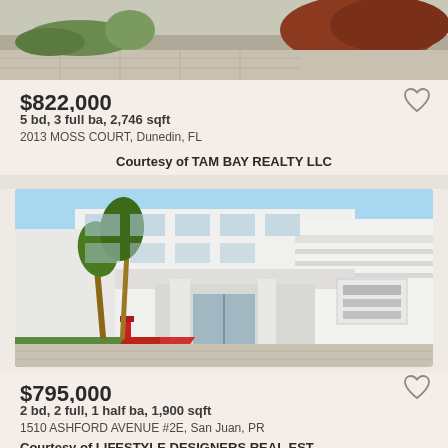[Figure (photo): Top portion of a property photo showing driveway, landscaping with red mulch and trees]
$822,000
5 bd, 3 full ba, 2,746 sqft
2013 MOSS COURT, Dunedin, FL
Courtesy of TAM BAY REALTY LLC
[Figure (photo): Modern white multi-story building entrance with palm trees, red accent elements, and glass doors — Ashford Plaza]
$795,000
2 bd, 2 full, 1 half ba, 1,900 sqft
1510 ASHFORD AVENUE #2E, San Juan, PR
Courtesy of LIFESTYLE DESIGNERS REAL EST...